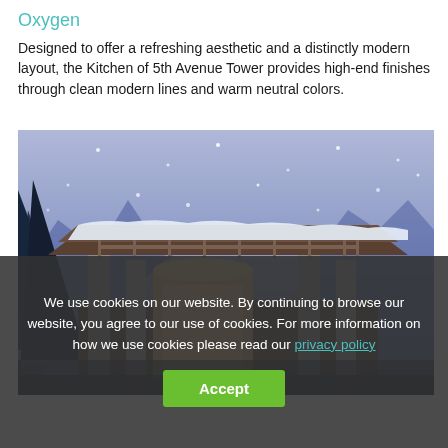Oxygen
Designed to offer a refreshing aesthetic and a distinctly modern layout, the Kitchen of 5th Avenue Tower provides high-end finishes through clean modern lines and warm neutral colors.
[Figure (photo): A snow-covered luxury chalet or lodge building with stone pillars and wooden balcony, photographed in winter with snow falling against a blue-grey sky and mountains in the background.]
We use cookies on our website. By continuing to browse our website, you agree to our use of cookies. For more information on how we use cookies please read our privacy policy